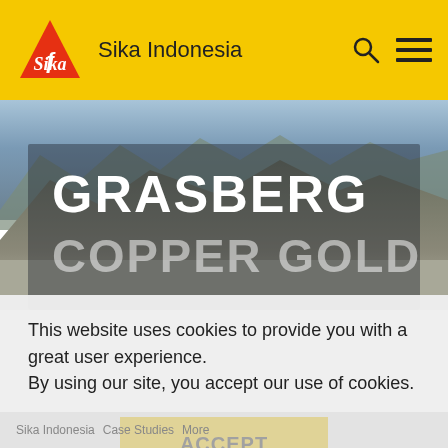Sika Indonesia
[Figure (screenshot): Grasberg Copper Gold mine aerial landscape photo with mountain range in background, overlaid with large white text 'GRASBERG' and semi-transparent 'COPPER GOLD']
This website uses cookies to provide you with a great user experience.
By using our site, you accept our use of cookies.
ACCEPT
Sika Indonesia   Case Studies   More